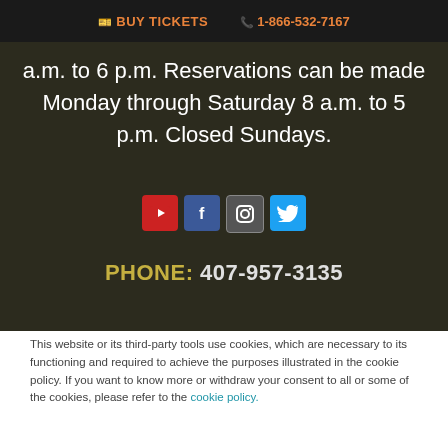BUY TICKETS  1-866-532-7167
a.m. to 6 p.m. Reservations can be made Monday through Saturday 8 a.m. to 5 p.m. Closed Sundays.
[Figure (other): Social media icons row: YouTube (red), Facebook (blue), Instagram (grey), Twitter (light blue)]
PHONE:  407-957-3135
This website or its third-party tools use cookies, which are necessary to its functioning and required to achieve the purposes illustrated in the cookie policy. If you want to know more or withdraw your consent to all or some of the cookies, please refer to the cookie policy.
By closing this banner, scrolling this page, clicking a link or continuing to browse otherwise, you agree to the use of cookies.
Accept
Decline